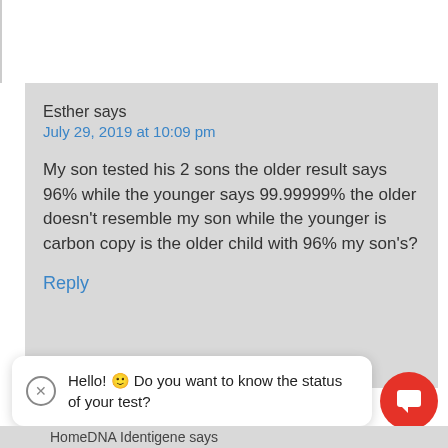Esther says
July 29, 2019 at 10:09 pm
My son tested his 2 sons the older result says 96% while the younger says 99.99999% the older doesn't resemble my son while the younger is carbon copy is the older child with 96% my son's?
Reply
Hello! 🙂 Do you want to know the status of your test?
HomeDNA Identigene says